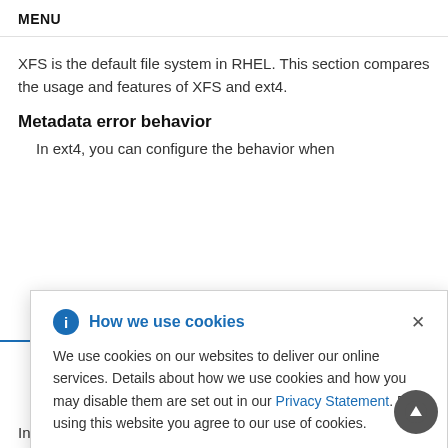MENU
XFS is the default file system in RHEL. This section compares the usage and features of XFS and ext4.
Metadata error behavior
In ext4, you can configure the behavior when [popup overlay] errors. [popup overlay] tinue the [popup overlay] s down CORRUPTED
[Figure (screenshot): Cookie consent popup dialog with 'How we use cookies' header (blue bold), info icon (blue circle with i), close button (x), body text explaining cookie usage and a link to Privacy Statement.]
In ext4, you can enable quotas when creating